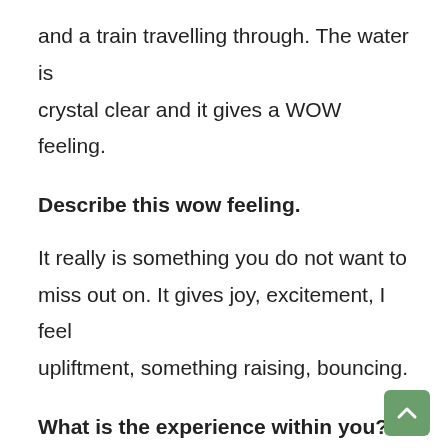and a train travelling through. The water is crystal clear and it gives a WOW feeling.
Describe this wow feeling.
It really is something you do not want to miss out on. It gives joy, excitement, I feel upliftment, something raising, bouncing.
What is the experience within you?
You are out. It is like breaking out of a barrier, which is not regular.